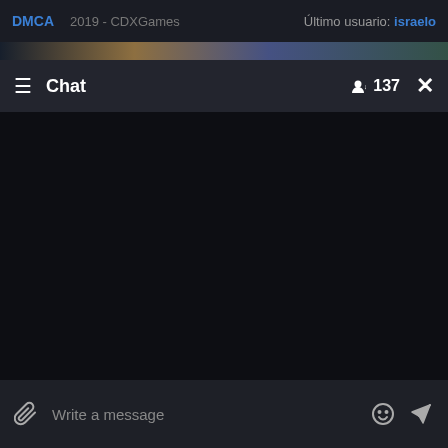DMCA   2019 - CDXGames   Último usuario: israelo
Chat   137   X
Write a message